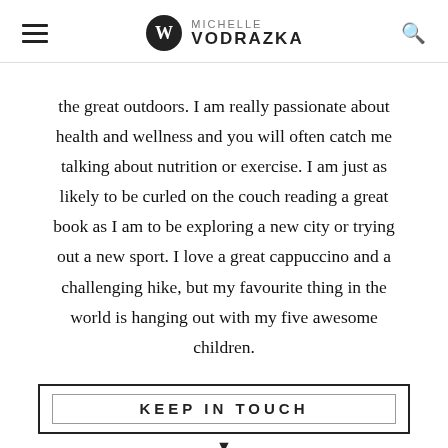Michelle Vodrazka
the great outdoors. I am really passionate about health and wellness and you will often catch me talking about nutrition or exercise. I am just as likely to be curled on the couch reading a great book as I am to be exploring a new city or trying out a new sport. I love a great cappuccino and a challenging hike, but my favourite thing in the world is hanging out with my five awesome children.
KEEP IN TOUCH